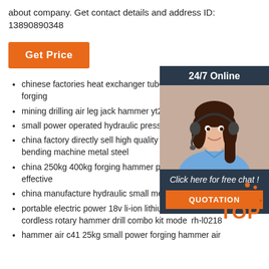about company. Get contact details and address ID: 13890890348
[Figure (other): Orange 'Get Price' button]
[Figure (other): 24/7 Online customer service widget with photo of woman with headset, 'Click here for free chat!' text, and orange QUOTATION button]
chinese factories heat exchanger tube plate for power hammer forging
mining drilling air leg jack hammer yt24 pneumatic drill
small power operated hydraulic press 50 ton
china factory directly sell high quality pbh-se double pump cnc bending machine metal steel
china 250kg 400kg forging hammer power forging hammer cost-effective
china manufacture hydraulic small metal press machine
portable electric power 18v li-ion lithium battery household cordless rotary hammer drill combo kit model rh-l0218
hammer air c41 25kg small power forging hammer air
[Figure (logo): Orange and red TOP badge logo]